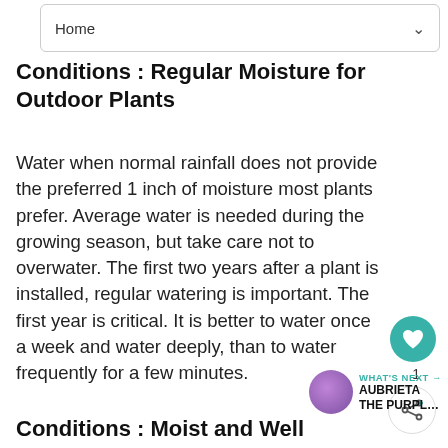Home
Conditions : Regular Moisture for Outdoor Plants
Water when normal rainfall does not provide the preferred 1 inch of moisture most plants prefer. Average water is needed during the growing season, but take care not to overwater. The first two years after a plant is installed, regular watering is important. The first year is critical. It is better to water once a week and water deeply, than to water frequently for a few minutes.
Conditions : Moist and Well Drain…